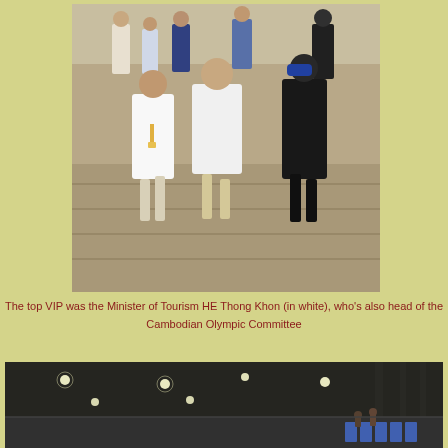[Figure (photo): Group of men walking down outdoor steps at a stadium or sports facility. The central figure wears a white jacket and khaki pants with hands in a prayer gesture. Others wear dark clothing and blue hats. Background shows a green field.]
The top VIP was the Minister of Tourism HE Thong Khon (in white), who's also head of the Cambodian Olympic Committee
[Figure (photo): Interior view of a stadium roof/ceiling structure with lights, showing dark paneling and a glimpse of the stands below.]